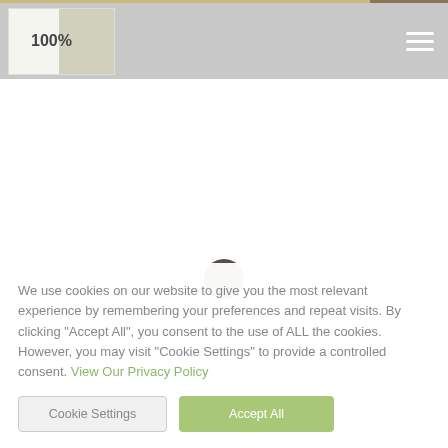100% [logo/navigation header with hamburger menu]
[Figure (other): Loading spinner - dark brown/grey circle in center of white content area]
We use cookies on our website to give you the most relevant experience by remembering your preferences and repeat visits. By clicking "Accept All", you consent to the use of ALL the cookies. However, you may visit "Cookie Settings" to provide a controlled consent. View Our Privacy Policy
Cookie Settings | Accept All